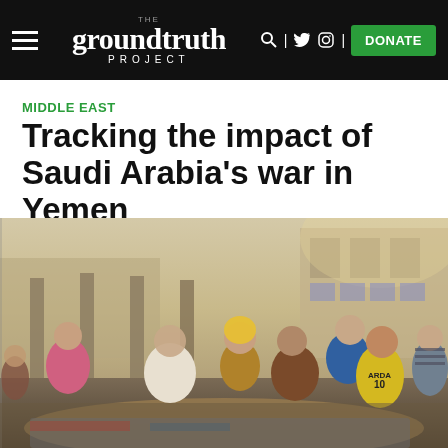THE groundtruth PROJECT | DONATE
MIDDLE EAST
Tracking the impact of Saudi Arabia's war in Yemen
[Figure (photo): A group of people sitting and standing outdoors near a building with columns. One person wears a yellow jersey with 'ARDA 10'. A woman in a yellow hijab is visible in the background. A man in a blue t-shirt speaks with the group.]